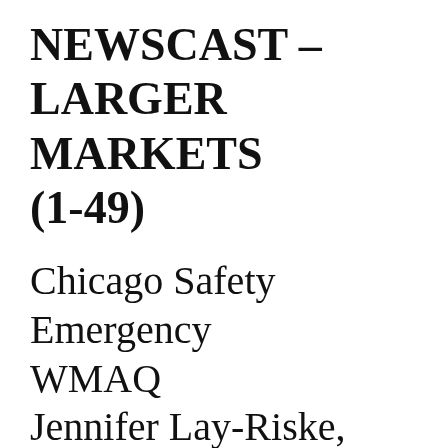NEWSCAST – LARGER MARKETS (1-49)
Chicago Safety Emergency
WMAQ
Jennifer Lay-Riske,